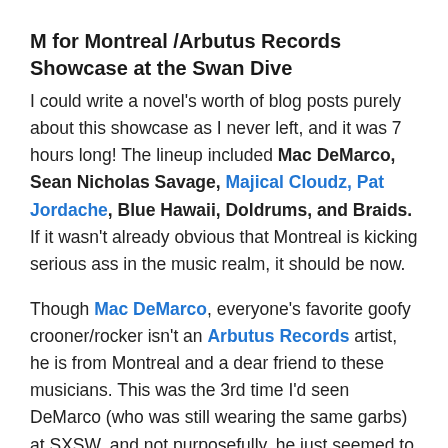M for Montreal /Arbutus Records Showcase at the Swan Dive
I could write a novel's worth of blog posts purely about this showcase as I never left, and it was 7 hours long! The lineup included Mac DeMarco, Sean Nicholas Savage, Majical Cloudz, Pat Jordache, Blue Hawaii, Doldrums, and Braids. If it wasn't already obvious that Montreal is kicking serious ass in the music realm, it should be now.
Though Mac DeMarco, everyone's favorite goofy crooner/rocker isn't an Arbutus Records artist, he is from Montreal and a dear friend to these musicians. This was the 3rd time I'd seen DeMarco (who was still wearing the same garbs) at SXSW, and not purposefully, he just seemed to be everywhere. However, this was by far his best performance, as he seemed to be in true bizarro form